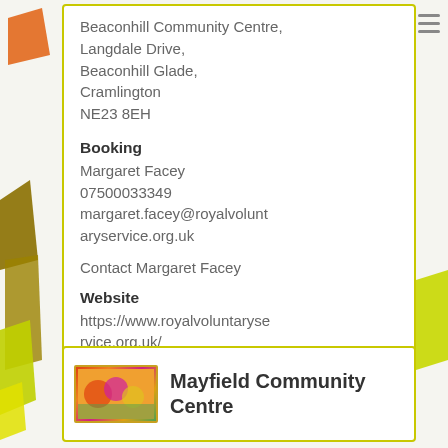Beaconhill Community Centre, Langdale Drive, Beaconhill Glade, Cramlington NE23 8EH
Booking
Margaret Facey
07500033349
margaret.facey@royalvoluntaryservice.org.uk
Contact Margaret Facey
Website
https://www.royalvoluntaryservice.org.uk/
[Figure (photo): Thumbnail image for Mayfield Community Centre]
Mayfield Community Centre